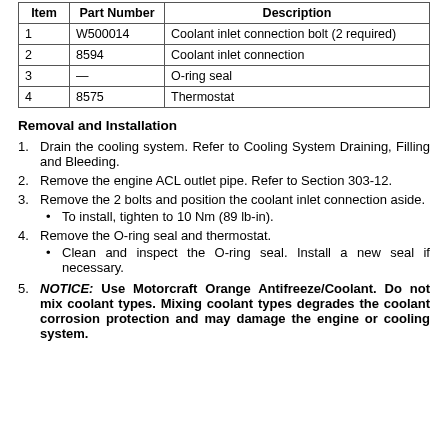| Item | Part Number | Description |
| --- | --- | --- |
| 1 | W500014 | Coolant inlet connection bolt (2 required) |
| 2 | 8594 | Coolant inlet connection |
| 3 | — | O-ring seal |
| 4 | 8575 | Thermostat |
Removal and Installation
Drain the cooling system. Refer to Cooling System Draining, Filling and Bleeding.
Remove the engine ACL outlet pipe. Refer to Section 303-12.
Remove the 2 bolts and position the coolant inlet connection aside.
• To install, tighten to 10 Nm (89 lb-in).
Remove the O-ring seal and thermostat.
• Clean and inspect the O-ring seal. Install a new seal if necessary.
NOTICE: Use Motorcraft Orange Antifreeze/Coolant. Do not mix coolant types. Mixing coolant types degrades the coolant corrosion protection and may damage the engine or cooling system.